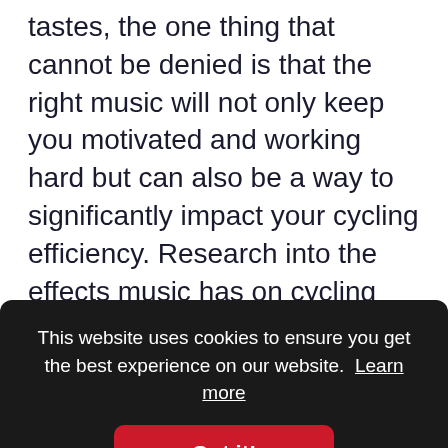tastes, the one thing that cannot be denied is that the right music will not only keep you motivated and working hard but can also be a way to significantly impact your cycling efficiency. Research into the effects music has on cycling performance dates all the way back to 1910 in this study and has been researched countless times over the last century.
Listening to music while exercising can be used in one of two ways: Synchronously, where the
This website uses cookies to ensure you get the best experience on our website. Learn more
Got it!
While it may be tempting to just throw on some of your favorite tunes, research has identified